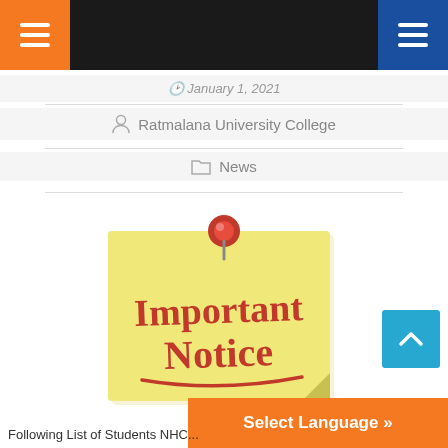Navigation bar with hamburger menus
January 1, 2021
Ratmalana University College
News
[Figure (illustration): Yellow sticky note with a red pushpin at the top, displaying the text 'Important Notice' in bold red handwritten-style font with a red underline swoosh.]
Following List of Students NHC...